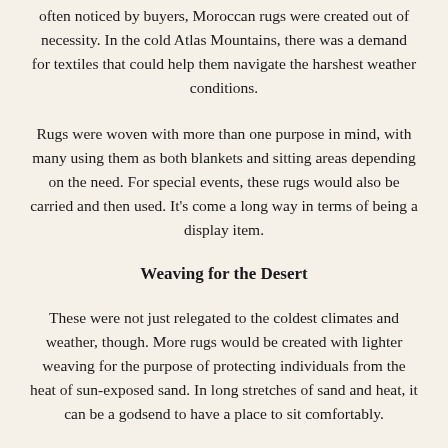often noticed by buyers, Moroccan rugs were created out of necessity. In the cold Atlas Mountains, there was a demand for textiles that could help them navigate the harshest weather conditions.
Rugs were woven with more than one purpose in mind, with many using them as both blankets and sitting areas depending on the need. For special events, these rugs would also be carried and then used. It’s come a long way in terms of being a display item.
Weaving for the Desert
These were not just relegated to the coldest climates and weather, though. More rugs would be created with lighter weaving for the purpose of protecting individuals from the heat of sun-exposed sand. In long stretches of sand and heat, it can be a godsend to have a place to sit comfortably.